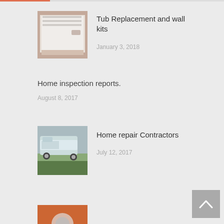[Figure (photo): Photo of a white bathtub and wall kit installation]
Tub Replacement and wall kits
January 3, 2018
Home inspection reports.
August 8, 2017
[Figure (photo): Photo of a white work van parked on a driveway]
Home repair Contractors
July 12, 2017
[Figure (photo): Partial photo at bottom of page, orange background]